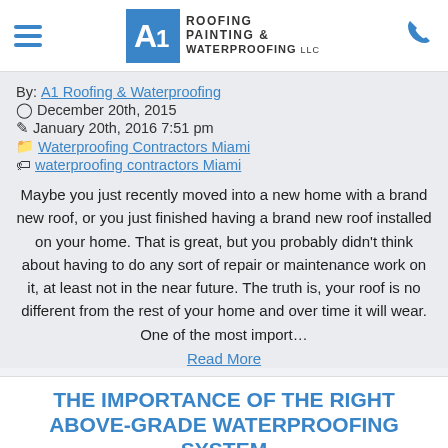A1 Roofing Painting & Waterproofing LLC
By: A1 Roofing & Waterproofing
December 20th, 2015
January 20th, 2016 7:51 pm
Waterproofing Contractors Miami
waterproofing contractors Miami
Maybe you just recently moved into a new home with a brand new roof, or you just finished having a brand new roof installed on your home. That is great, but you probably didn't think about having to do any sort of repair or maintenance work on it, at least not in the near future. The truth is, your roof is no different from the rest of your home and over time it will wear. One of the most import...
Read More
THE IMPORTANCE OF THE RIGHT ABOVE-GRADE WATERPROOFING SYSTEM
By: A1 Roofing & Waterproofing
November 10th, 2015